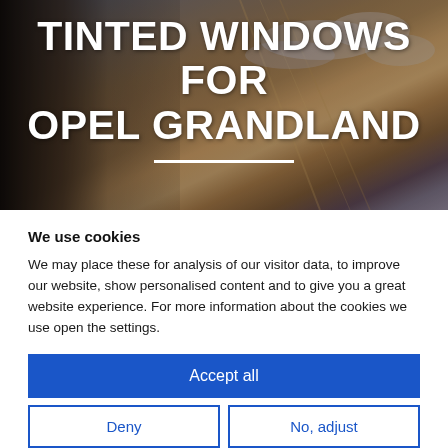[Figure (photo): Hero image of a tinted car window with cloudy sky reflection, dark brown/amber tones]
TINTED WINDOWS FOR OPEL GRANDLAND
We use cookies
We may place these for analysis of our visitor data, to improve our website, show personalised content and to give you a great website experience. For more information about the cookies we use open the settings.
Accept all
Deny
No, adjust